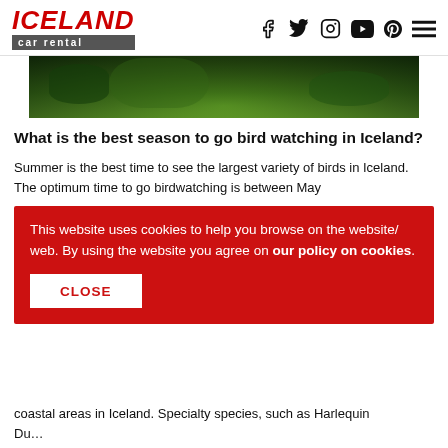ICELAND car rental
[Figure (photo): Close-up photo of green tropical foliage/leaves with dark background]
What is the best season to go bird watching in Iceland?
Summer is the best time to see the largest variety of birds in Iceland. The optimum time to go birdwatching is between May
This website uses cookies to help you browse on the website/ web. By using the website you agree on our policy on cookies.
coastal areas in Iceland. Specialty species, such as Harlequin Du…